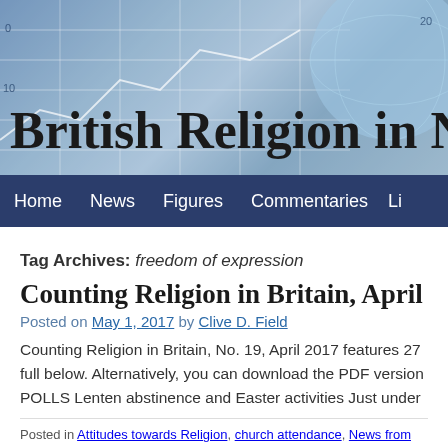[Figure (illustration): Website header banner for 'British Religion in Numbers' showing a blue-toned background with grid/chart lines and a globe graphic]
British Religion in Nu
Home   News   Figures   Commentaries   Li
Tag Archives: freedom of expression
Counting Religion in Britain, April 2017
Posted on May 1, 2017 by Clive D. Field
Counting Religion in Britain, No. 19, April 2017 features 27 full below. Alternatively, you can download the PDF version POLLS Lenten abstinence and Easter activities Just under o
Posted in Attitudes towards Religion, church attendance, News from religious or Ethnicity, Religion and Politics, Religion in public debate, Religion in the Press, Religious prejudice, Survey news | Tagged 9dot-research, abstinence, academic groups, attendance at religious services, BBC, Ben Clements, Benedict XVI Cen Research, Brexit, British Household Panel Survey, British Sociological Ass